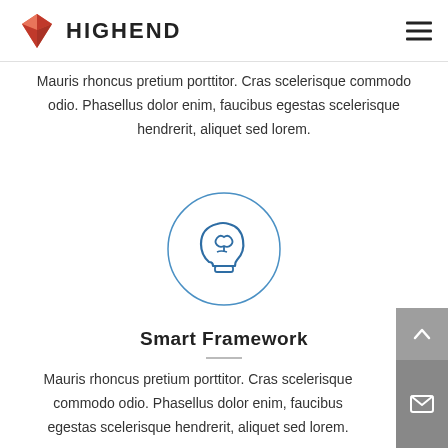HIGHEND
Mauris rhoncus pretium porttitor. Cras scelerisque commodo odio. Phasellus dolor enim, faucibus egestas scelerisque hendrerit, aliquet sed lorem.
[Figure (illustration): Blue circle outline with a brain/head icon inside, representing intelligence or smart framework concept]
Smart Framework
Mauris rhoncus pretium porttitor. Cras scelerisque commodo odio. Phasellus dolor enim, faucibus egestas scelerisque hendrerit, aliquet sed lorem.